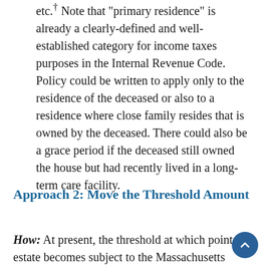etc.† Note that "primary residence" is already a clearly-defined and well-established category for income taxes purposes in the Internal Revenue Code. Policy could be written to apply only to the residence of the deceased or also to a residence where close family resides that is owned by the deceased. There could also be a grace period if the deceased still owned the house but had recently lived in a long-term care facility.
Approach 2: Move the Threshold Amount
How: At present, the threshold at which point an estate becomes subject to the Massachusetts estate